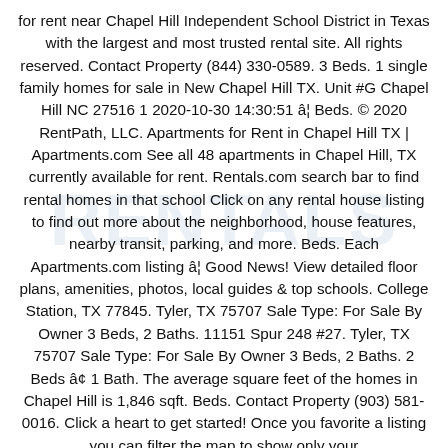for rent near Chapel Hill Independent School District in Texas with the largest and most trusted rental site. All rights reserved. Contact Property (844) 330-0589. 3 Beds. 1 single family homes for sale in New Chapel Hill TX. Unit #G Chapel Hill NC 27516 1 2020-10-30 14:30:51 â¦ Beds. © 2020 RentPath, LLC. Apartments for Rent in Chapel Hill TX | Apartments.com See all 48 apartments in Chapel Hill, TX currently available for rent. Rentals.com search bar to find rental homes in that school Click on any rental house listing to find out more about the neighborhood, house features, nearby transit, parking, and more. Beds. Each Apartments.com listing â¦ Good News! View detailed floor plans, amenities, photos, local guides & top schools. College Station, TX 77845. Tyler, TX 75707 Sale Type: For Sale By Owner 3 Beds, 2 Baths. 11151 Spur 248 #27. Tyler, TX 75707 Sale Type: For Sale By Owner 3 Beds, 2 Baths. 2 Beds â¢ 1 Bath. The average square feet of the homes in Chapel Hill is 1,846 sqft. Beds. Contact Property (903) 581-0016. Click a heart to get started! Once you favorite a listing you can filter the map to show only your